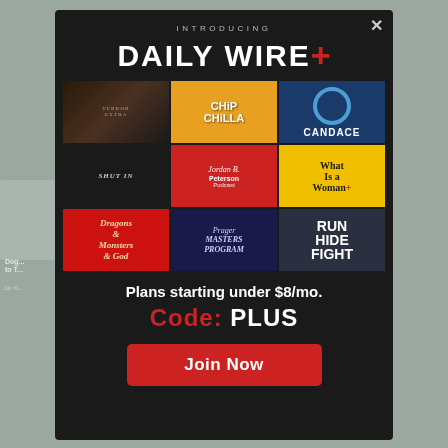INTRODUCING DAILY WIRE+
[Figure (screenshot): Grid of 9 Daily Wire+ show thumbnails: Terror Extra, Chip Chilla, Candace, Shut In, Jordan B. Peterson Podcast, What Is a Woman?, Dragons & Monsters & God, Masters Program, Run Hide Fight]
Plans starting under $8/mo.
Code: PLUS
Join Now